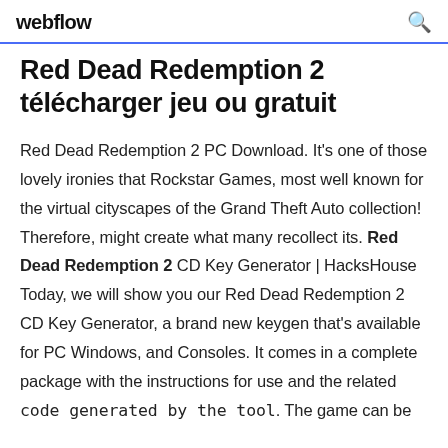webflow
Red Dead Redemption 2 télécharger jeu ou gratuit
Red Dead Redemption 2 PC Download. It's one of those lovely ironies that Rockstar Games, most well known for the virtual cityscapes of the Grand Theft Auto collection! Therefore, might create what many recollect its. Red Dead Redemption 2 CD Key Generator | HacksHouse Today, we will show you our Red Dead Redemption 2 CD Key Generator, a brand new keygen that's available for PC Windows, and Consoles. It comes in a complete package with the instructions for use and the related code generated by the tool. The game can be